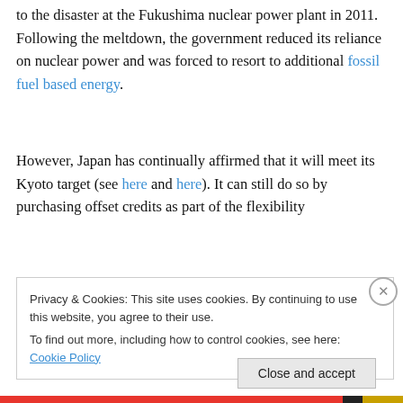to the disaster at the Fukushima nuclear power plant in 2011. Following the meltdown, the government reduced its reliance on nuclear power and was forced to resort to additional fossil fuel based energy.
However, Japan has continually affirmed that it will meet its Kyoto target (see here and here). It can still do so by purchasing offset credits as part of the flexibility
Privacy & Cookies: This site uses cookies. By continuing to use this website, you agree to their use.
To find out more, including how to control cookies, see here: Cookie Policy